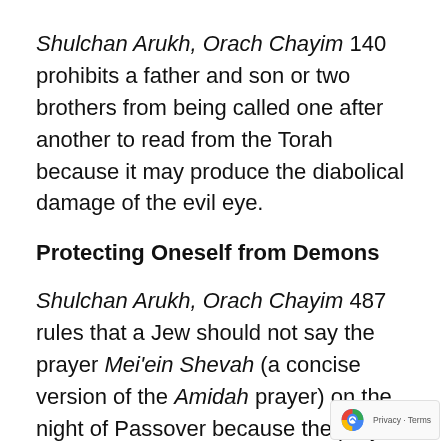Shulchan Arukh, Orach Chayim 140 prohibits a father and son or two brothers from being called one after another to read from the Torah because it may produce the diabolical damage of the evil eye.
Protecting Oneself from Demons
Shulchan Arukh, Orach Chayim 487 rules that a Jew should not say the prayer Mei'ein Shevah (a concise version of the Amidah prayer) on the night of Passover because the prayer was instituted to protect latecomers to the synagogue from demons; on the night of Passover, the book says, God protects Jews